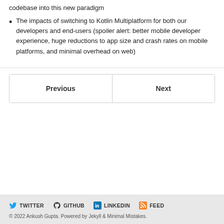codebase into this new paradigm
The impacts of switching to Kotlin Multiplatform for both our developers and end-users (spoiler alert: better mobile developer experience, huge reductions to app size and crash rates on mobile platforms, and minimal overhead on web)
| Previous | Next |
| --- | --- |
TWITTER  GITHUB  LINKEDIN  FEED
© 2022 Ankush Gupta. Powered by Jekyll & Minimal Mistakes.